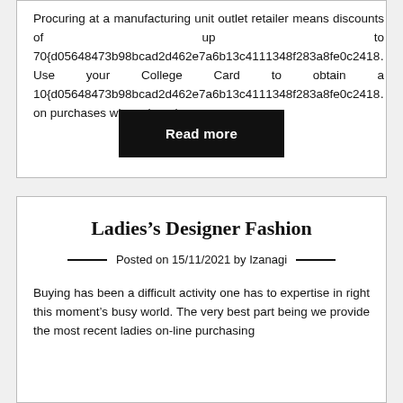Procuring at a manufacturing unit outlet retailer means discounts of up to 70{d05648473b98bcad2d462e7a6b13c4111348f283a8fe0c2418... Use your College Card to obtain a 10{d05648473b98bcad2d462e7a6b13c4111348f283a8fe0c2418... on purchases when shopping ...
Read more
Ladies’s Designer Fashion
Posted on 15/11/2021 by Izanagi
Buying has been a difficult activity one has to expertise in right this moment’s busy world. The very best part being we provide the most recent ladies on-line purchasing